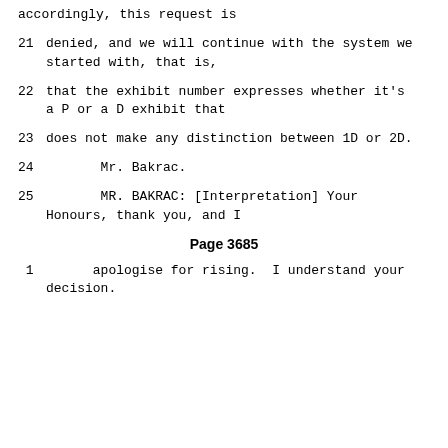accordingly, this request is
21     denied, and we will continue with the system we started with, that is,
22     that the exhibit number expresses whether it's a P or a D exhibit that
23     does not make any distinction between 1D or 2D.
24          Mr. Bakrac.
25          MR. BAKRAC: [Interpretation] Your Honours, thank you, and I
Page 3685
1      apologise for rising.  I understand your decision.